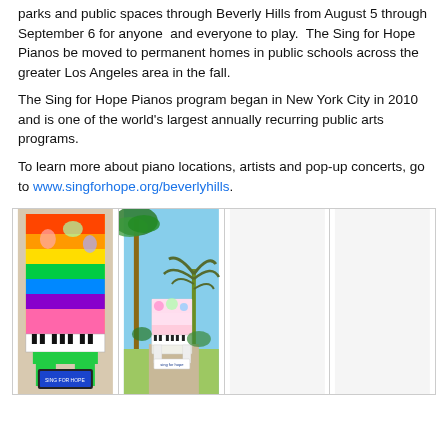parks and public spaces through Beverly Hills from August 5 through September 6 for anyone and everyone to play. The Sing for Hope Pianos be moved to permanent homes in public schools across the greater Los Angeles area in the fall.
The Sing for Hope Pianos program began in New York City in 2010 and is one of the world's largest annually recurring public arts programs.
To learn more about piano locations, artists and pop-up concerts, go to www.singforhope.org/beverlyhills.
[Figure (photo): Four photos of colorfully painted Sing for Hope pianos placed outdoors in Beverly Hills parks and public spaces. Two photos are visible: one showing a brightly painted upright piano with rainbow and cartoon-like designs, and another showing a painted piano outdoors near palm trees and a yucca plant.]